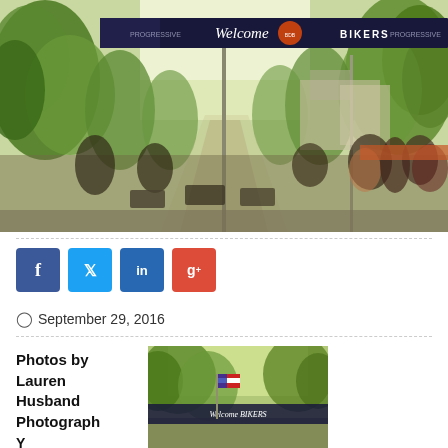[Figure (photo): Outdoor street scene with motorcycles and crowd under trees, with a 'Welcome Bikers' banner spanning the road, sponsored by Progressive]
[Figure (infographic): Social media share buttons: Facebook (blue), Twitter (light blue), LinkedIn (dark blue), Google+ (red)]
September 29, 2016
Photos by Lauren Husband Photograph Y...
[Figure (photo): Second outdoor photo showing trees and a Welcome Bikers banner with American flag in foreground]